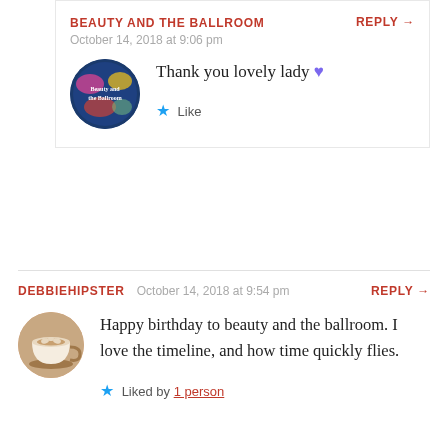BEAUTY AND THE BALLROOM
October 14, 2018 at 9:06 pm
REPLY →
Thank you lovely lady 💜
Like
DEBBIEHIPSTER  October 14, 2018 at 9:54 pm  REPLY →
Happy birthday to beauty and the ballroom. I love the timeline, and how time quickly flies.
Liked by 1 person